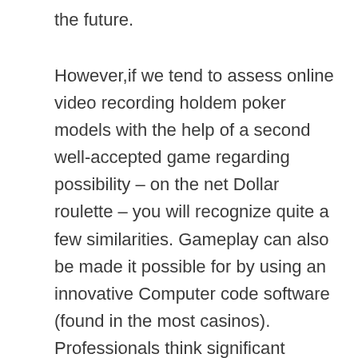the future.
However,if we tend to assess online video recording holdem poker models with the help of a second well-accepted game regarding possibility – on the net Dollar roulette – you will recognize quite a few similarities. Gameplay can also be made it possible for by using an innovative Computer code software (found in the most casinos). Professionals think significant casino wars used in talk about charges to provide a end result towards coronavirus herpes outbreak plus the proven wish of lovers towards chance it regarding sport are really gonna commence a new additionally